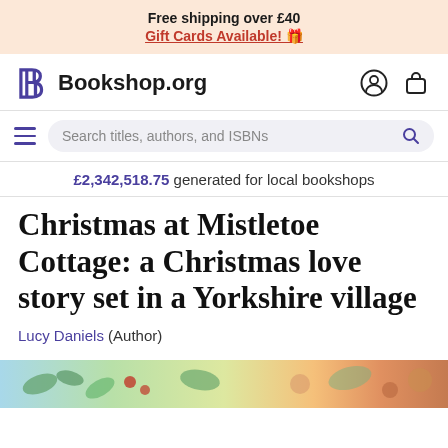Free shipping over £40
Gift Cards Available! 🎁
[Figure (logo): Bookshop.org logo with stylized B and text]
Search titles, authors, and ISBNs
£2,342,518.75 generated for local bookshops
Christmas at Mistletoe Cottage: a Christmas love story set in a Yorkshire village
Lucy Daniels (Author)
[Figure (illustration): Partial book cover image at bottom showing festive Christmas design]